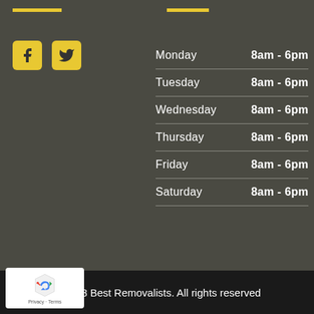[Figure (logo): Yellow horizontal bar top-left accent]
[Figure (logo): Yellow horizontal bar top-center accent]
[Figure (logo): Facebook and Twitter social media icons in yellow square buttons]
| Day | Hours |
| --- | --- |
| Monday | 8am - 6pm |
| Tuesday | 8am - 6pm |
| Wednesday | 8am - 6pm |
| Thursday | 8am - 6pm |
| Friday | 8am - 6pm |
| Saturday | 8am - 6pm |
© 2018 Best Removalists. All rights reserved